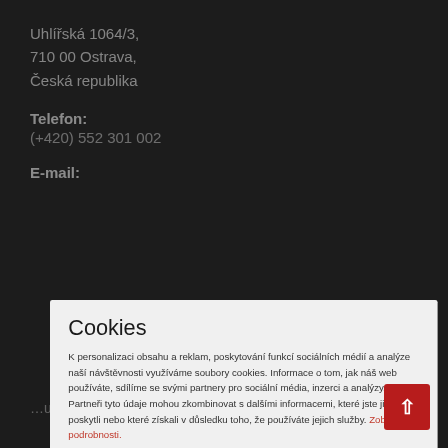Uhlířská 1064/3,
710 00 Ostrava,
Česká republika
Telefon:
(+420) 552 301 002
E-mail:
Cookies
K personalizaci obsahu a reklam, poskytování funkcí sociálních médií a analýze naší návštěvnosti využíváme soubory cookies. Informace o tom, jak náš web používáte, sdílíme se svými partnery pro sociální média, inzerci a analýzy. Partneři tyto údaje mohou zkombinovat s dalšími informacemi, které jste jim poskytli nebo které získali v důsledku toho, že používáte jejich služby. Zobrazit podrobnosti.
SOUHLASÍM
uktech, sle a